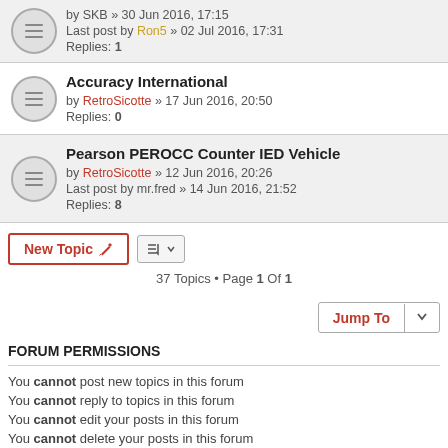by SKB » 30 Jun 2016, 17:15 | Last post by Ron5 » 02 Jul 2016, 17:31 | Replies: 1
Accuracy International | by RetroSicotte » 17 Jun 2016, 20:50 | Replies: 0
Pearson PEROCC Counter IED Vehicle | by RetroSicotte » 12 Jun 2016, 20:26 | Last post by mr.fred » 14 Jun 2016, 21:52 | Replies: 8
New Topic  |  37 Topics • Page 1 Of 1
Jump To
FORUM PERMISSIONS
You cannot post new topics in this forum
You cannot reply to topics in this forum
You cannot edit your posts in this forum
You cannot delete your posts in this forum